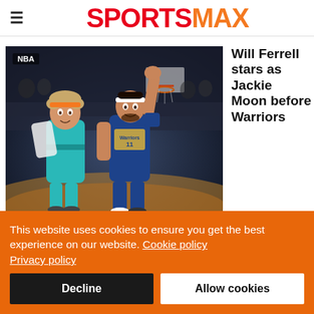SPORTSMAX
[Figure (photo): Basketball court scene with Will Ferrell dressed as Jackie Moon (in teal outfit, orange headband) and a Golden State Warriors player (blue jersey, white headband, fist raised) on a basketball court. NBA tag overlay in top-left corner.]
Will Ferrell stars as Jackie Moon before Warriors
This website uses cookies to ensure you get the best experience on our website. Cookie policy
Privacy policy
Decline
Allow cookies